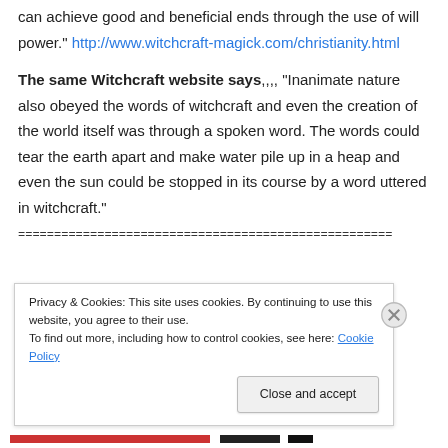can achieve good and beneficial ends through the use of will power." http://www.witchcraft-magick.com/christianity.html
The same Witchcraft website says,,,, "Inanimate nature also obeyed the words of witchcraft and even the creation of the world itself was through a spoken word. The words could tear the earth apart and make water pile up in a heap and even the sun could be stopped in its course by a word uttered in witchcraft."
====================================================
Privacy & Cookies: This site uses cookies. By continuing to use this website, you agree to their use. To find out more, including how to control cookies, see here: Cookie Policy
Close and accept